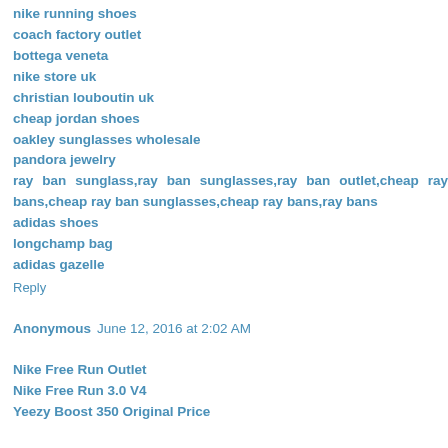nike running shoes
coach factory outlet
bottega veneta
nike store uk
christian louboutin uk
cheap jordan shoes
oakley sunglasses wholesale
pandora jewelry
ray ban sunglass,ray ban sunglasses,ray ban outlet,cheap ray bans,cheap ray ban sunglasses,cheap ray bans,ray bans
adidas shoes
longchamp bag
adidas gazelle
Reply
Anonymous  June 12, 2016 at 2:02 AM
Nike Free Run Outlet
Nike Free Run 3.0 V4
Yeezy Boost 350 Original Price